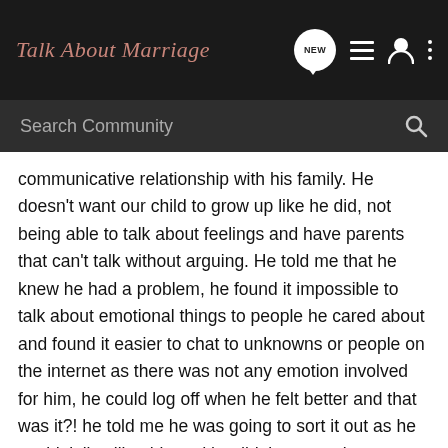Talk About Marriage
Search Community
communicative relationship with his family. He doesn't want our child to grow up like he did, not being able to talk about feelings and have parents that can't talk without arguing. He told me that he knew he had a problem, he found it impossible to talk about emotional things to people he cared about and found it easier to chat to unknowns or people on the internet as there was not any emotion involved for him, he could log off when he felt better and that was it?! he told me he was going to sort it out as he couldn't live like this and he didn't want to lose us. True to his word he started counselling sessions and has honestly been like a new man since. He has been more open, willing to sit and talk and it has made a huge difference to both his demeanor and outlook as well as our relationship and family life.
When all of this happened earlier this year I asked him if there